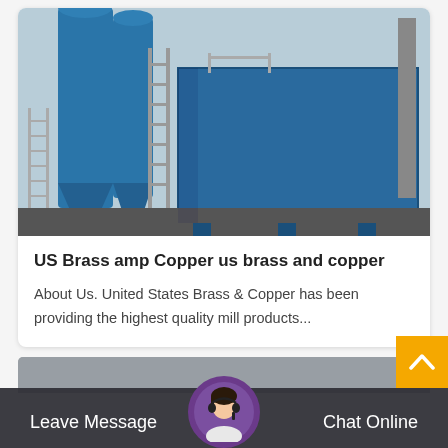[Figure (photo): Industrial blue dust collector / filtration system with large blue pipes and metal structure against a light sky background]
US Brass amp Copper us brass and copper
About Us. United States Brass & Copper has been providing the highest quality mill products...
[Figure (photo): Partial view of another industrial image at the bottom of the page]
Leave Message   Chat Online